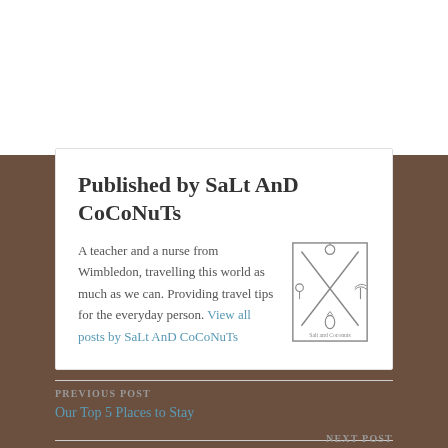Published by SaLt AnD CoCoNuTs
A teacher and a nurse from Wimbledon, travelling this world as much as we can. Providing travel tips for the everyday person. View all posts by SaLt AnD CoCoNuTs
[Figure (logo): Salt and Coconuts logo: a square border with crossed arrows/sticks and small icons (apple, flamingo, pineapple), text 'Salt and Coconuts' at the bottom]
PREVIOUS POST
Our Top 5 Places to Stay
NEXT POST